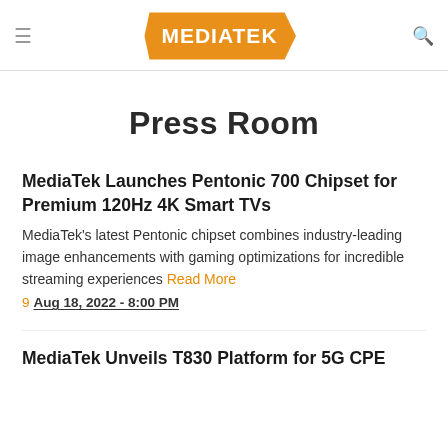MediaTek Press Room
Press Room
MediaTek Launches Pentonic 700 Chipset for Premium 120Hz 4K Smart TVs
MediaTek's latest Pentonic chipset combines industry-leading image enhancements with gaming optimizations for incredible streaming experiences Read More
9 Aug 18, 2022 - 8:00 PM
MediaTek Unveils T830 Platform for 5G CPE